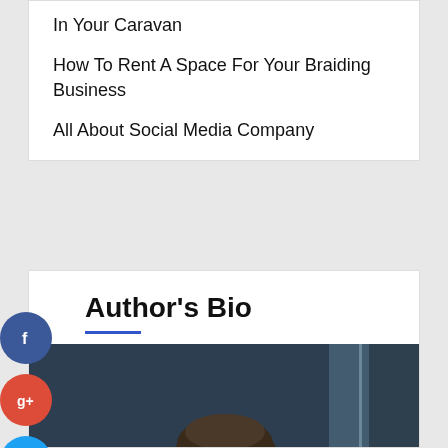In Your Caravan
How To Rent A Space For Your Braiding Business
All About Social Media Company
Author's Bio
[Figure (photo): Portrait photo of a man with glasses and dark hair, looking contemplative near a window]